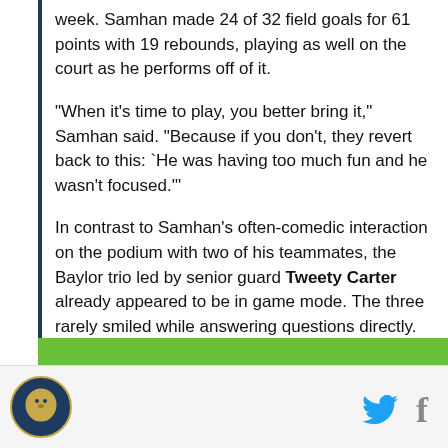week. Samhan made 24 of 32 field goals for 61 points with 19 rebounds, playing as well on the court as he performs off of it.
"When it's time to play, you better bring it," Samhan said. "Because if you don't, they revert back to this: `He was having too much fun and he wasn't focused.'"
In contrast to Samhan's often-comedic interaction on the podium with two of his teammates, the Baylor trio led by senior guard Tweety Carter already appeared to be in game mode. The three rarely smiled while answering questions directly.
[Figure (logo): Circular logo with a lion/animal head in gold and blue colors]
[Figure (logo): Twitter bird icon in blue]
[Figure (logo): Facebook f icon in gray]